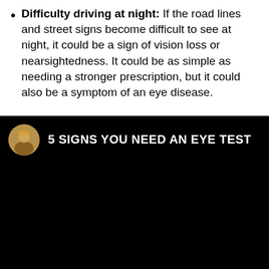Difficulty driving at night: If the road lines and street signs become difficult to see at night, it could be a sign of vision loss or nearsightedness. It could be as simple as needing a stronger prescription, but it could also be a symptom of an eye disease.
[Figure (screenshot): Video thumbnail with black background showing a circular avatar of a person on the left and the text '5 SIGNS YOU NEED AN EYE TEST' in white bold letters to the right.]